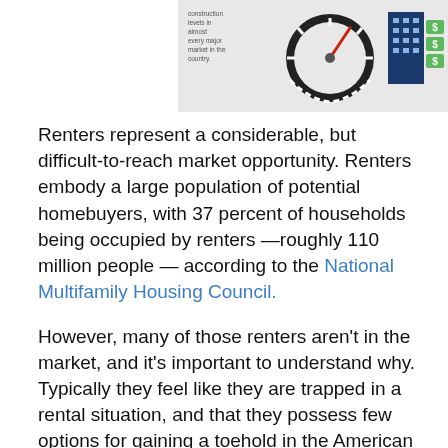[Figure (infographic): Partial view of an infographic showing a speedometer/gauge icon and a building with dollar signs, with text referencing construction levels in almost every major market in the country.]
Renters represent a considerable, but difficult-to-reach market opportunity. Renters embody a large population of potential homebuyers, with 37 percent of households being occupied by renters —roughly 110 million people — according to the National Multifamily Housing Council.
However, many of those renters aren't in the market, and it's important to understand why. Typically they feel like they are trapped in a rental situation, and that they possess few options for gaining a toehold in the American Dream of homeownership. You can turn that around by convincing them they can break into homeownership.
Fortunately, the numbers are on your side. By simply providing some solid education to renters, you can tap into this massive market of prospective homebuyers. There are several strong arguments for buying instead of renting: